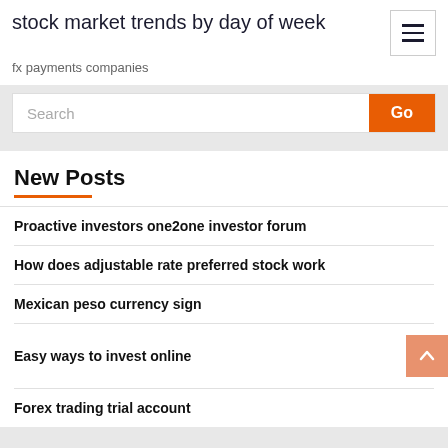stock market trends by day of week
fx payments companies
New Posts
Proactive investors one2one investor forum
How does adjustable rate preferred stock work
Mexican peso currency sign
Easy ways to invest online
Forex trading trial account